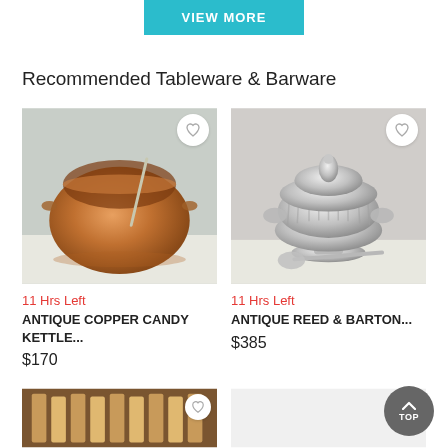[Figure (other): Teal/cyan VIEW MORE button at top of page]
Recommended Tableware & Barware
[Figure (photo): Antique copper candy kettle with stirring rod]
11 Hrs Left
ANTIQUE COPPER CANDY KETTLE...
$170
[Figure (photo): Antique Reed & Barton silver-plated soup tureen with lid and ladle]
11 Hrs Left
ANTIQUE REED & BARTON...
$385
[Figure (photo): Partial view of bottom-left product image]
[Figure (other): TOP scroll-to-top button in gray circle, bottom right]